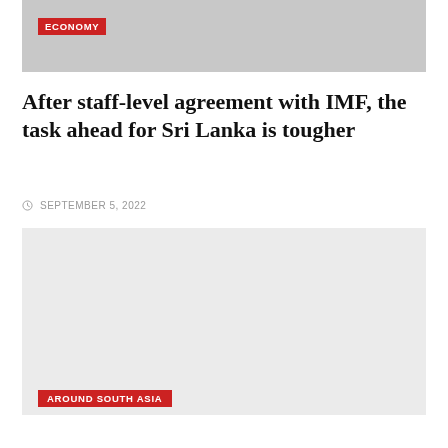[Figure (photo): Top image placeholder, gray background with ECONOMY badge]
ECONOMY
After staff-level agreement with IMF, the task ahead for Sri Lanka is tougher
SEPTEMBER 5, 2022
[Figure (photo): Second image placeholder, light gray background with AROUND SOUTH ASIA badge]
AROUND SOUTH ASIA